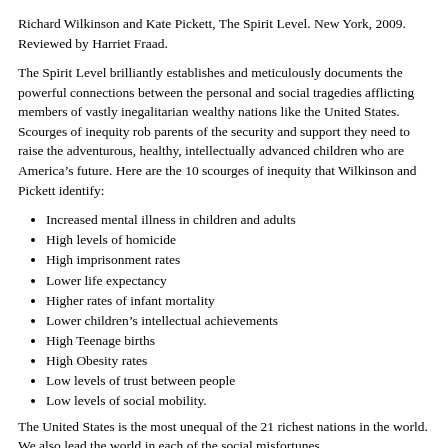Richard Wilkinson and Kate Pickett, The Spirit Level. New York, 2009. Reviewed by Harriet Fraad.
The Spirit Level brilliantly establishes and meticulously documents the powerful connections between the personal and social tragedies afflicting members of vastly inegalitarian wealthy nations like the United States. Scourges of inequity rob parents of the security and support they need to raise the adventurous, healthy, intellectually advanced children who are America's future. Here are the 10 scourges of inequity that Wilkinson and Pickett identify:
Increased mental illness in children and adults
High levels of homicide
High imprisonment rates
Lower life expectancy
Higher rates of infant mortality
Lower children's intellectual achievements
High Teenage births
High Obesity rates
Low levels of trust between people
Low levels of social mobility.
The United States is the most unequal of the 21 richest nations in the world. We also lead the world in each of the social misfortunes